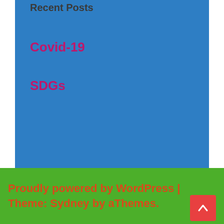Recent Posts
Covid-19
SDGs
Proudly powered by WordPress | Theme: Sydney by aThemes.